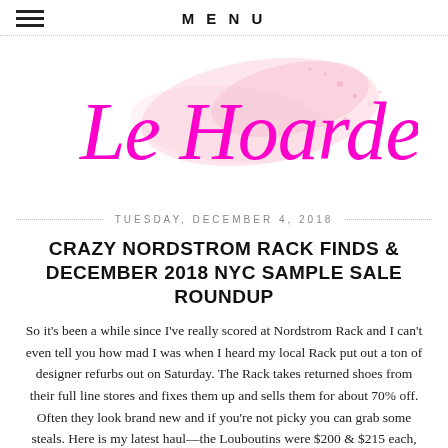MENU
[Figure (logo): Le Hoarder blog logo in magenta/fuchsia cursive script with a pink watercolor splash background]
TUESDAY, DECEMBER 4, 2018
CRAZY NORDSTROM RACK FINDS & DECEMBER 2018 NYC SAMPLE SALE ROUNDUP
So it's been a while since I've really scored at Nordstrom Rack and I can't even tell you how mad I was when I heard my local Rack put out a ton of designer refurbs out on Saturday. The Rack takes returned shoes from their full line stores and fixes them up and sells them for about 70% off. Often they look brand new and if you're not picky you can grab some steals. Here is my latest haul—the Louboutins were $200 & $215 each, the YSLs were $275, The Rockstuds were $300, and the Guccis were both